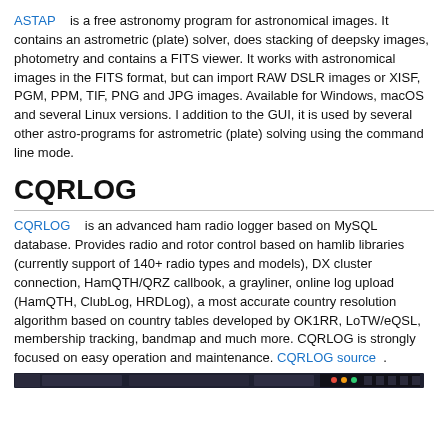ASTAP    is a free astronomy program for astronomical images. It contains an astrometric (plate) solver, does stacking of deepsky images, photometry and contains a FITS viewer. It works with astronomical images in the FITS format, but can import RAW DSLR images or XISF, PGM, PPM, TIF, PNG and JPG images. Available for Windows, macOS and several Linux versions. I addition to the GUI, it is used by several other astro-programs for astrometric (plate) solving using the command line mode.
CQRLOG
CQRLOG    is an advanced ham radio logger based on MySQL database. Provides radio and rotor control based on hamlib libraries (currently support of 140+ radio types and models), DX cluster connection, HamQTH/QRZ callbook, a grayliner, online log upload (HamQTH, ClubLog, HRDLog), a most accurate country resolution algorithm based on country tables developed by OK1RR, LoTW/eQSL, membership tracking, bandmap and much more. CQRLOG is strongly focused on easy operation and maintenance. CQRLOG source .
[Figure (screenshot): Screenshot of CQRLOG application interface showing a dark toolbar/menu bar]